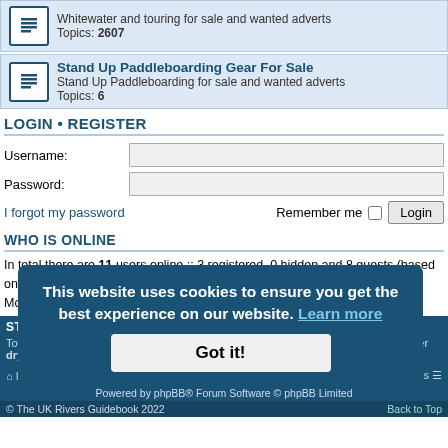Whitewater and touring for sale and wanted adverts
Topics: 2607
Stand Up Paddleboarding Gear For Sale
Stand Up Paddleboarding for sale and wanted adverts
Topics: 6
LOGIN • REGISTER
Username:
Password:
I forgot my password
Remember me
WHO IS ONLINE
In total there are 11 users online :: 3 registered, 0 hidden and 8 guests (based on users active over the past 5 minutes)
Most users ever online was 722 on Thu Nov 28, 2019 12:49 pm
STATISTICS
Total posts 807048 • Total topics 125038 • Total members 44801 • Our newest member drygreencarpetz
This website uses cookies to ensure you get the best experience on our website. Learn more
Got it!
Home • Board Index | Contact us
Powered by phpBB® Forum Software © phpBB Limited
© The UK Rivers Guidebook 2022 | Back to Top